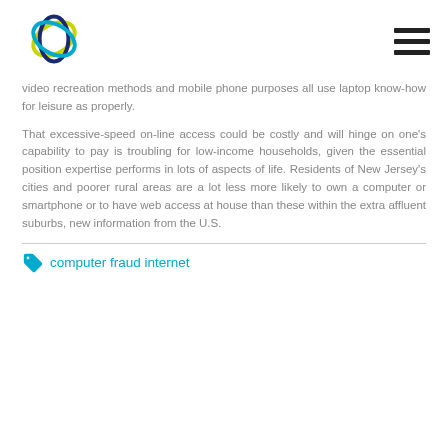Logo and navigation menu
video recreation methods and mobile phone purposes all use laptop know-how for leisure as properly.
That excessive-speed on-line access could be costly and will hinge on one's capability to pay is troubling for low-income households, given the essential position expertise performs in lots of aspects of life. Residents of New Jersey's cities and poorer rural areas are a lot less more likely to own a computer or smartphone or to have web access at house than these within the extra affluent suburbs, new information from the U.S.
computer fraud internet